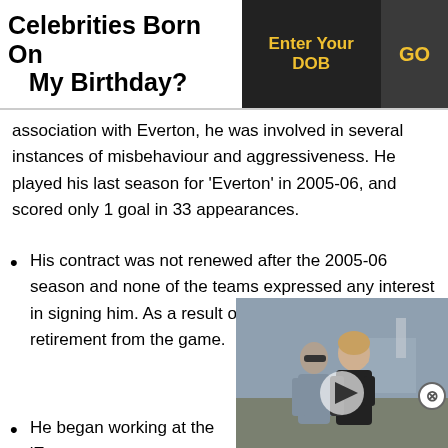Celebrities Born On My Birthday?
association with Everton, he was involved in several instances of misbehaviour and aggressiveness. He played his last season for ‘Everton’ in 2005-06, and scored only 1 goal in 33 appearances.
His contract was not renewed after the 2005-06 season and none of the teams expressed any interest in signing him. As a result of this, Duncan announced retirement from the game.
He began working at the ‘E[verton]’ coach. In February 2014, h[e joined the] first team coaching staff of …
[Figure (photo): Photo of two people walking, partially obscured by video overlay with play button]